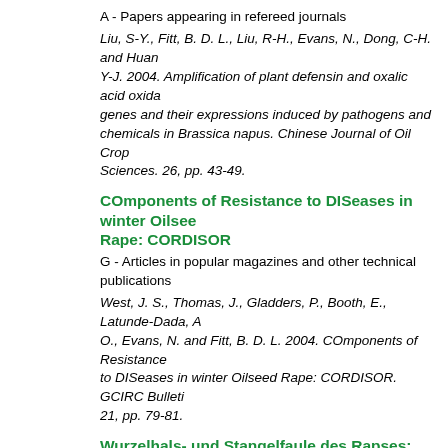A - Papers appearing in refereed journals
Liu, S-Y., Fitt, B. D. L., Liu, R-H., Evans, N., Dong, C-H. and Huang Y-J. 2004. Amplification of plant defensin and oxalic acid oxidase genes and their expressions induced by pathogens and chemicals in Brassica napus. Chinese Journal of Oil Crop Sciences. 26, pp. 43-49.
COmponents of Resistance to DISeases in winter Oilseed Rape: CORDISOR
G - Articles in popular magazines and other technical publications
West, J. S., Thomas, J., Gladders, P., Booth, E., Latunde-Dada, A. O., Evans, N. and Fitt, B. D. L. 2004. COmponents of Resistance to DISeases in winter Oilseed Rape: CORDISOR. GCIRC Bulletin 21, pp. 79-81.
Wurzelhals- und Stangelfaule des Rapses: zwei Krankheitserreger vs ein Fungizid
C2 - Non-edited contributions to conferences
Eckert, M. R., Fitt, B. D. L. and Selley, A. 2004. Wurzelhals- und...